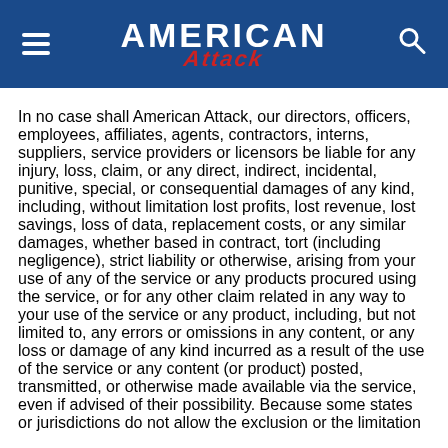AMERICAN ATTACK
In no case shall American Attack, our directors, officers, employees, affiliates, agents, contractors, interns, suppliers, service providers or licensors be liable for any injury, loss, claim, or any direct, indirect, incidental, punitive, special, or consequential damages of any kind, including, without limitation lost profits, lost revenue, lost savings, loss of data, replacement costs, or any similar damages, whether based in contract, tort (including negligence), strict liability or otherwise, arising from your use of any of the service or any products procured using the service, or for any other claim related in any way to your use of the service or any product, including, but not limited to, any errors or omissions in any content, or any loss or damage of any kind incurred as a result of the use of the service or any content (or product) posted, transmitted, or otherwise made available via the service, even if advised of their possibility. Because some states or jurisdictions do not allow the exclusion or the limitation